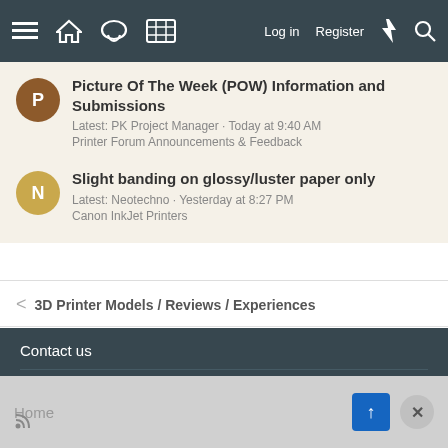≡ 🏠 💬 [grid] Log in Register ⚡ 🔍
Picture Of The Week (POW) Information and Submissions
Latest: PK Project Manager · Today at 9:40 AM
Printer Forum Announcements & Feedback
Slight banding on glossy/luster paper only
Latest: Neotechno · Yesterday at 8:27 PM
Canon InkJet Printers
< 3D Printer Models / Reviews / Experiences
Contact us
Terms and rules
Privacy policy
Help
Home